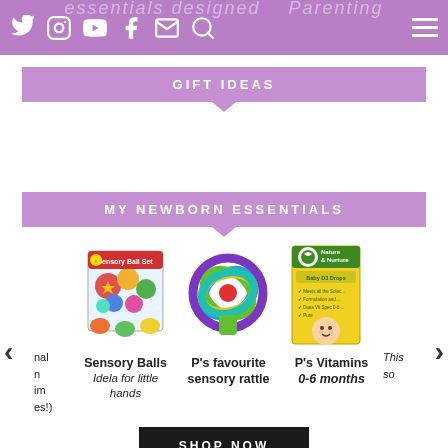essentials designed Parenting
GIFT IDEAS
MY NEWBORN ESSENTIALS
[Figure (photo): Sensory Balls toy box product photo - colorful textured balls in a box]
Sensory Balls
Idela for little hands
[Figure (photo): Colorful interlocking rings sensory rattle toy]
P's favourite sensory rattle
[Figure (photo): Nature & Nurture baby vitamins box 0-6 months]
P's Vitamins
0-6 months
SHOP NOW